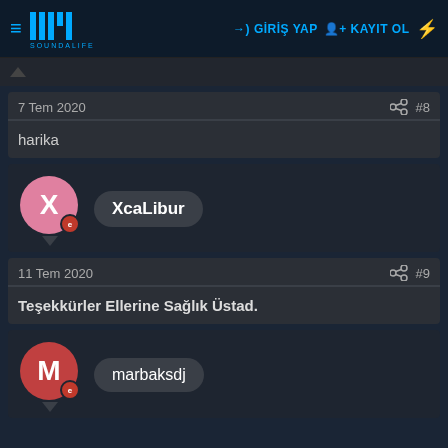≡ SML SOUNDALIFE → GİRİŞ YAP + KAYIT OL ⚡
7 Tem 2020  #8
harika
[Figure (other): User avatar for XcaLibur - pink circle with X letter]
XcaLibur
11 Tem 2020  #9
Teşekkürler Ellerine Sağlık Üstad.
[Figure (other): User avatar for marbaksdj - red circle with M letter]
marbaksdj